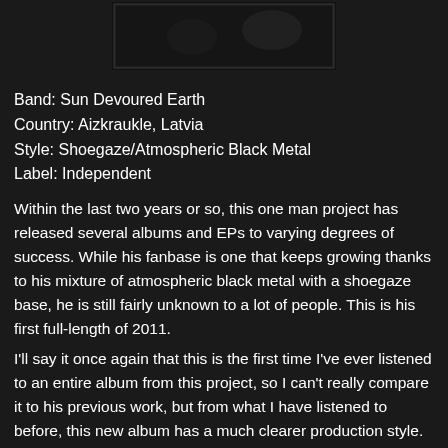[Figure (photo): Album cover image for Sun Devoured Earth, dark/black image]
Band: Sun Devoured Earth
Country: Aizkraukle, Latvia
Style: Shoegaze/Atmospheric Black Metal
Label: Independent
Within the last two years or so, this one man project has released several albums and EPs to varying degrees of success. While his fanbase is one that keeps growing thanks to his mixture of atmospheric black metal with a shoegaze base, he is still fairly unknown to a lot of people. This is his first full-length of 2011.
I'll say it once again that this is the first time I've ever listened to an entire album from this project, so I can't really compare it to his previous work, but from what I have listened to before, this new album has a much clearer production style. This is not a typical heavy album, and most of what is black metal on here comes in only during the climax of most of these tracks, for the most part, this is an instrumental post-rock/shoegaze release that is more fit for daydreaming than headbanging. The main instrumentation